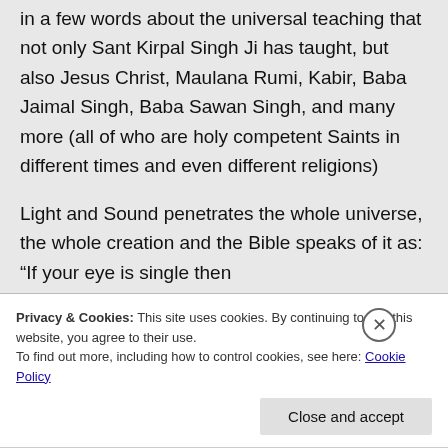in a few words about the universal teaching that not only Sant Kirpal Singh Ji has taught, but also Jesus Christ, Maulana Rumi, Kabir, Baba Jaimal Singh, Baba Sawan Singh, and many more (all of who are holy competent Saints in different times and even different religions)

Light and Sound penetrates the whole universe, the whole creation and the Bible speaks of it as: “If your eye is single then
Privacy & Cookies: This site uses cookies. By continuing to use this website, you agree to their use.
To find out more, including how to control cookies, see here: Cookie Policy